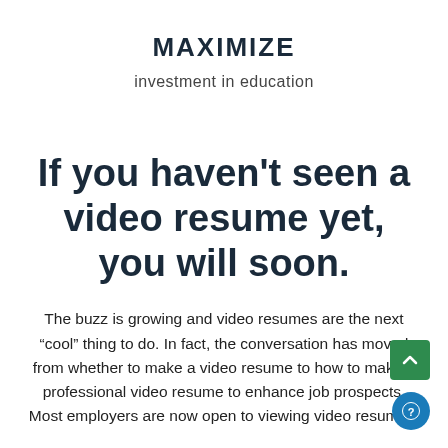MAXIMIZE
investment in education
If you haven't seen a video resume yet, you will soon.
The buzz is growing and video resumes are the next “cool” thing to do. In fact, the conversation has moved from whether to make a video resume to how to make a professional video resume to enhance job prospects. Most employers are now open to viewing video resumes.